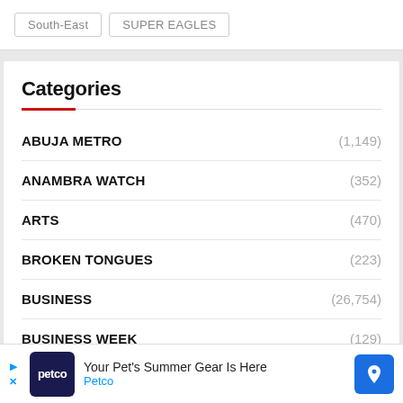South-East
SUPER EAGLES
Categories
ABUJA METRO (1,149)
ANAMBRA WATCH (352)
ARTS (470)
BROKEN TONGUES (223)
BUSINESS (26,754)
BUSINESS WEEK (129)
Your Pet's Summer Gear Is Here Petco